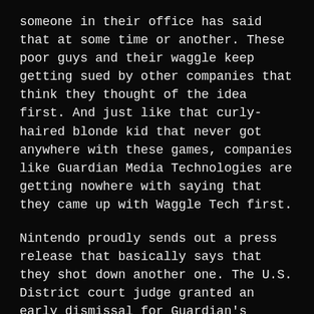someone in their office has said that at some time or another. These poor guys and their waggle keep getting sued by other companies that think they thought of the idea first. And just like that curly-haired blonde kid that never got anywhere with these games, companies like Guardian Media Technologies are getting nowhere with saying that they came up with Waggle Tech first.
Nintendo proudly sends out a press release that basically says that they shot down another one. The U.S. District court judge granted an early dismissal for Guardian's patent infringement lawsuit.
“We are very pleased with the Court’s decision,”